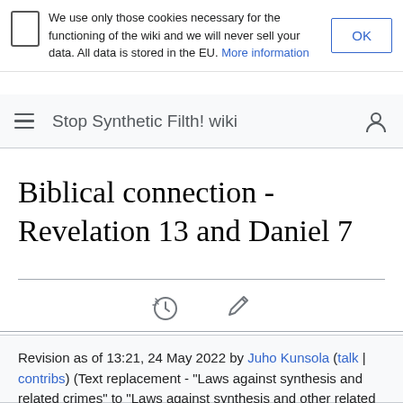We use only those cookies necessary for the functioning of the wiki and we will never sell your data. All data is stored in the EU. More information
Stop Synthetic Filth! wiki
Biblical connection - Revelation 13 and Daniel 7
Revision as of 13:21, 24 May 2022 by Juho Kunsola (talk | contribs) (Text replacement - "Laws against synthesis and related crimes" to "Laws against synthesis and other related crimes") (diff) ← Older revision | Latest revision (diff) | Newer revision → (diff)